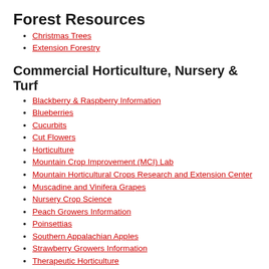Forest Resources
Christmas Trees
Extension Forestry
Commercial Horticulture, Nursery & Turf
Blackberry & Raspberry Information
Blueberries
Cucurbits
Cut Flowers
Horticulture
Mountain Crop Improvement (MCI) Lab
Mountain Horticultural Crops Research and Extension Center
Muscadine and Vinifera Grapes
Nursery Crop Science
Peach Growers Information
Poinsettias
Southern Appalachian Apples
Strawberry Growers Information
Therapeutic Horticulture
Turf Pathology